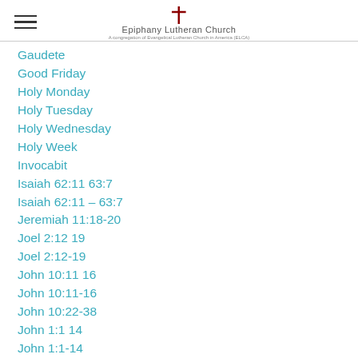Epiphany Lutheran Church
Gaudete
Good Friday
Holy Monday
Holy Tuesday
Holy Wednesday
Holy Week
Invocabit
Isaiah 62:11 63:7
Isaiah 62:11 – 63:7
Jeremiah 11:18-20
Joel 2:12 19
Joel 2:12-19
John 10:11 16
John 10:11-16
John 10:22-38
John 1:1 14
John 1:1-14